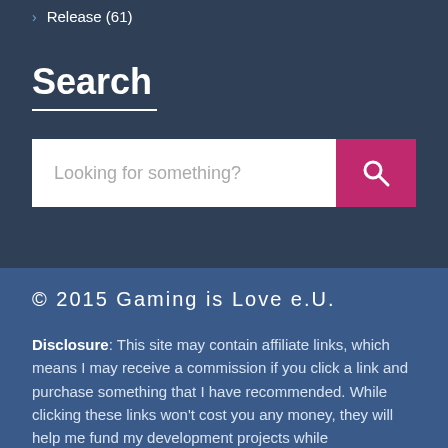Release (61)
Search
[Figure (other): Search input box with placeholder text 'Looking for something?' and a pink search button with magnifying glass icon]
© 2015 Gaming is Love e.U.
Disclosure: This site may contain affiliate links, which means I may receive a commission if you click a link and purchase something that I have recommended. While clicking these links won't cost you any money, they will help me fund my development projects while